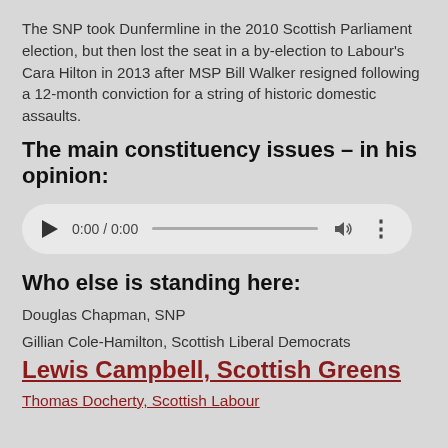The SNP took Dunfermline in the 2010 Scottish Parliament election, but then lost the seat in a by-election to Labour's Cara Hilton in 2013 after MSP Bill Walker resigned following a 12-month conviction for a string of historic domestic assaults.
The main constituency issues – in his opinion:
[Figure (other): Audio player widget showing 0:00 / 0:00 with play button, progress bar, volume icon, and options dots]
Who else is standing here:
Douglas Chapman, SNP
Gillian Cole-Hamilton, Scottish Liberal Democrats
Lewis Campbell, Scottish Greens
Thomas Docherty, Scottish Labour